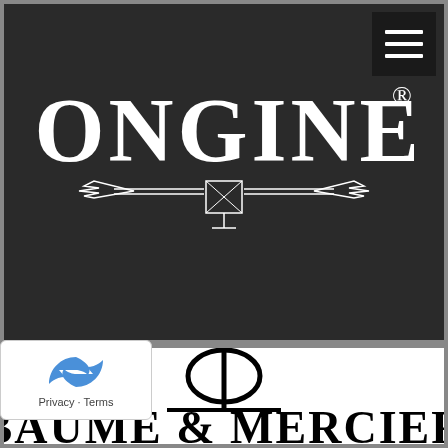[Figure (logo): Longines brand logo: white text 'LONGINES' with registered trademark symbol on dark/black background, with winged hourglass emblem below the text. Hamburger menu icon in top-right corner.]
[Figure (logo): Baume & Mercier brand logo: Phi symbol (Φ) above a horizontal line, with text 'BAUME & MERCIER' partially visible, on white background.]
Privacy · Terms